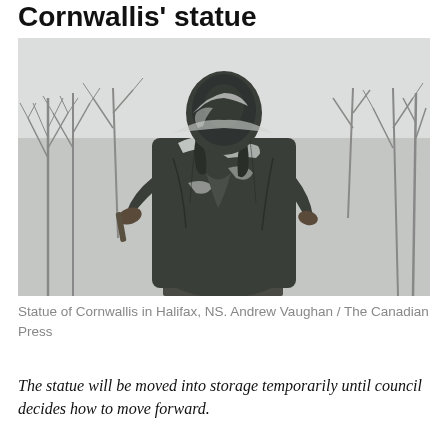Cornwallis' statue
[Figure (photo): Photograph of the statue of Cornwallis in Halifax, NS, taken by Andrew Vaughan / The Canadian Press. The bronze statue is shown from a low angle against bare winter trees and a pale sky. Snow is visible on the statue's shoulders and body.]
Statue of Cornwallis in Halifax, NS. Andrew Vaughan / The Canadian Press
The statue will be moved into storage temporarily until council decides how to move forward.